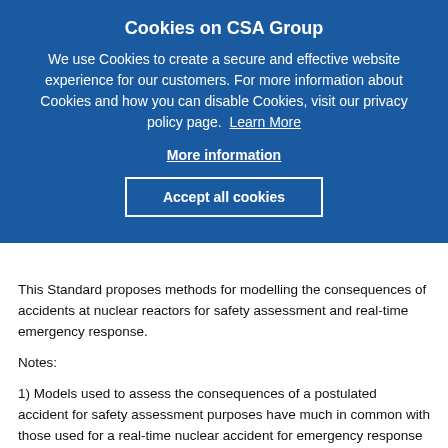Cookies on CSA Group
We use Cookies to create a secure and effective website experience for our customers. For more information about Cookies and how you can disable Cookies, visit our privacy policy page. Learn More
More information
Accept all cookies
This Standard proposes methods for modelling the consequences of accidents at nuclear reactors for safety assessment and real-time emergency response.
Notes:
1) Models used to assess the consequences of a postulated accident for safety assessment purposes have much in common with those used for a real-time nuclear accident for emergency response purposes, including the calculation of dispersion and air concentrations. However, the two types of models differ in their treatment of source terms and end